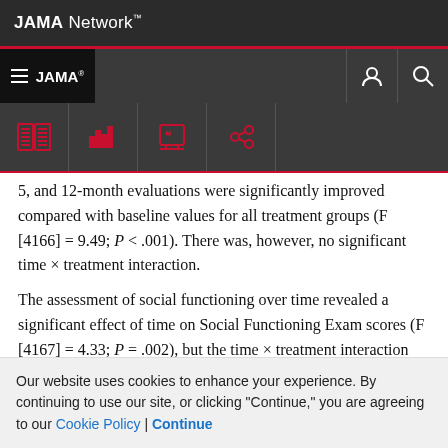JAMA Network
5, and 12-month evaluations were significantly improved compared with baseline values for all treatment groups (F [4166] = 9.49; P < .001). There was, however, no significant time × treatment interaction.
The assessment of social functioning over time revealed a significant effect of time on Social Functioning Exam scores (F [4167] = 4.33; P = .002), but the time × treatment interaction was not significant, again
Our website uses cookies to enhance your experience. By continuing to use our site, or clicking "Continue," you are agreeing to our Cookie Policy | Continue